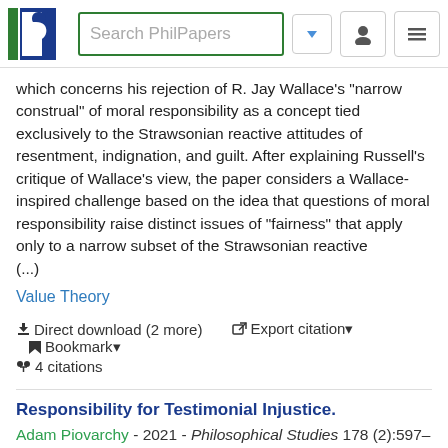Search PhilPapers
which concerns his rejection of R. Jay Wallace's "narrow construal" of moral responsibility as a concept tied exclusively to the Strawsonian reactive attitudes of resentment, indignation, and guilt. After explaining Russell's critique of Wallace's view, the paper considers a Wallace-inspired challenge based on the idea that questions of moral responsibility raise distinct issues of "fairness" that apply only to a narrow subset of the Strawsonian reactive (...)
Value Theory
Direct download (2 more)  Export citation  Bookmark  4 citations
Responsibility for Testimonial Injustice.
Adam Piovarchy - 2021 - Philosophical Studies 178 (2):597–615.
In this paper, I examine whether agents who commit testimonial injustice are morally responsible for their